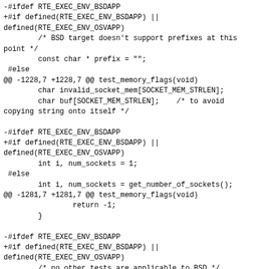-#ifdef RTE_EXEC_ENV_BSDAPP
+#if defined(RTE_EXEC_ENV_BSDAPP) ||
defined(RTE_EXEC_ENV_OSVAPP)
        /* BSD target doesn't support prefixes at this point */
        const char * prefix = "";
 #else
@@ -1228,7 +1228,7 @@ test_memory_flags(void)
        char invalid_socket_mem[SOCKET_MEM_STRLEN];
        char buf[SOCKET_MEM_STRLEN];    /* to avoid copying string onto itself */

-#ifdef RTE_EXEC_ENV_BSDAPP
+#if defined(RTE_EXEC_ENV_BSDAPP) ||
defined(RTE_EXEC_ENV_OSVAPP)
        int i, num_sockets = 1;
 #else
        int i, num_sockets = get_number_of_sockets();
@@ -1281,7 +1281,7 @@ test_memory_flags(void)
                return -1;
        }

-#ifdef RTE_EXEC_ENV_BSDAPP
+#if defined(RTE_EXEC_ENV_BSDAPP) ||
defined(RTE_EXEC_ENV_OSVAPP)
        /* no other tests are applicable to BSD */
        return 0;
 #endif
diff --git a/app/test/test_timer_perf.c b/app/test/test_timer_perf.c